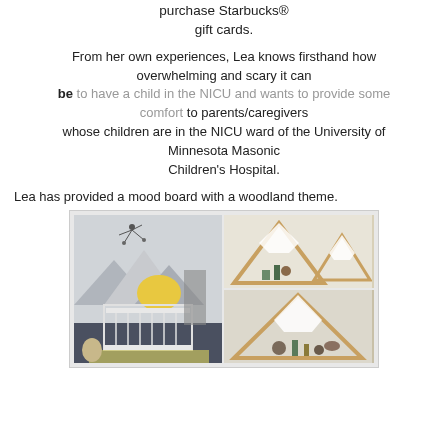purchase Starbucks® gift cards.
From her own experiences, Lea knows firsthand how overwhelming and scary it can be to have a child in the NICU and wants to provide some comfort to parents/caregivers whose children are in the NICU ward of the University of Minnesota Masonic Children's Hospital.
Lea has provided a mood board with a woodland theme.
[Figure (photo): Two-panel mood board image with woodland nursery theme: left panel shows a nursery room with mountain mural wall art and a crib; right panel shows triangular wooden mountain-shaped shelves on a wall.]